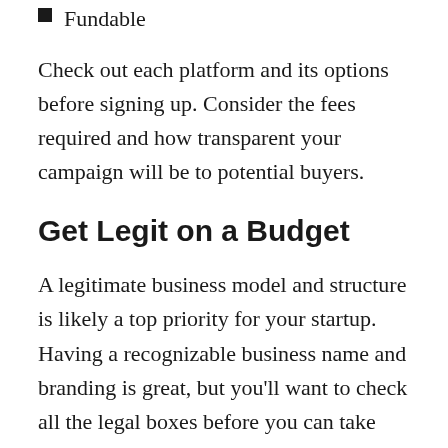Fundable
Check out each platform and its options before signing up. Consider the fees required and how transparent your campaign will be to potential buyers.
Get Legit on a Budget
A legitimate business model and structure is likely a top priority for your startup. Having a recognizable business name and branding is great, but you'll want to check all the legal boxes before you can take off. Fortunately, you can DIY much of the business setup process for less cash than you might expect. Searching for existing business names on your state's filing site is a good place to start. After all, you don't want to run into any trademark or